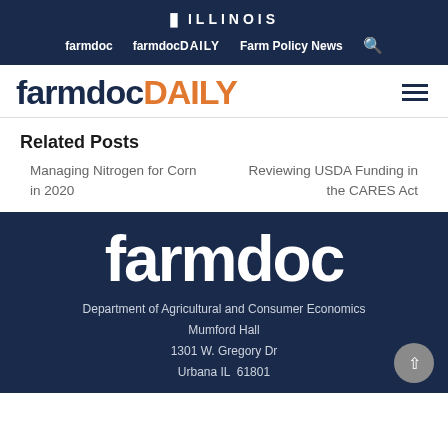I ILLINOIS | farmdoc | farmdocDAILY | Farm Policy News
farmdocDAILY
Related Posts
Managing Nitrogen for Corn in 2020
Reviewing USDA Funding in the CARES Act
[Figure (logo): farmdoc logo in white on dark navy background]
Department of Agricultural and Consumer Economics
Mumford Hall
1301 W. Gregory Dr
Urbana IL  61801